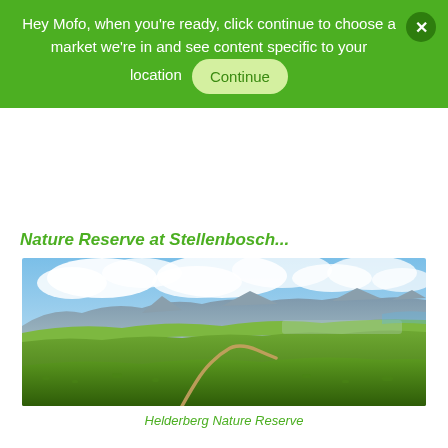Hey Mofo, when you're ready, click continue to choose a market we're in and see content specific to your location  [Continue]
Nature Reserve at Stellenbosch...
[Figure (photo): Aerial landscape view of Helderberg Nature Reserve showing green fynbos hills, a winding dirt path, and mountains in the background under a partly cloudy blue sky]
Helderberg Nature Reserve